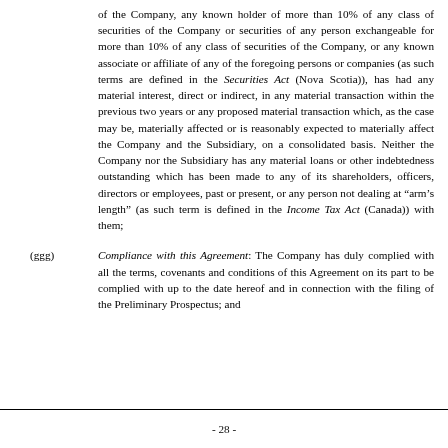of the Company, any known holder of more than 10% of any class of securities of the Company or securities of any person exchangeable for more than 10% of any class of securities of the Company, or any known associate or affiliate of any of the foregoing persons or companies (as such terms are defined in the Securities Act (Nova Scotia)), has had any material interest, direct or indirect, in any material transaction within the previous two years or any proposed material transaction which, as the case may be, materially affected or is reasonably expected to materially affect the Company and the Subsidiary, on a consolidated basis. Neither the Company nor the Subsidiary has any material loans or other indebtedness outstanding which has been made to any of its shareholders, officers, directors or employees, past or present, or any person not dealing at “arm’s length” (as such term is defined in the Income Tax Act (Canada)) with them;
(ggg) Compliance with this Agreement: The Company has duly complied with all the terms, covenants and conditions of this Agreement on its part to be complied with up to the date hereof and in connection with the filing of the Preliminary Prospectus; and
- 28 -